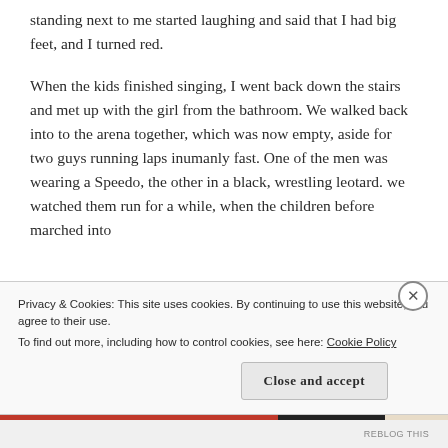standing next to me started laughing and said that I had big feet, and I turned red.

When the kids finished singing, I went back down the stairs and met up with the girl from the bathroom. We walked back into to the arena together, which was now empty, aside for two guys running laps inumanly fast. One of the men was wearing a Speedo, the other in a black, wrestling leotard. we watched them run for a while, when the children before marched into
Privacy & Cookies: This site uses cookies. By continuing to use this website, you agree to their use.
To find out more, including how to control cookies, see here: Cookie Policy
Close and accept